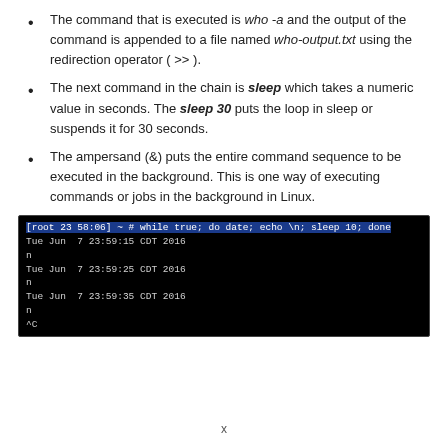The command that is executed is who -a and the output of the command is appended to a file named who-output.txt using the redirection operator ( >> ).
The next command in the chain is sleep which takes a numeric value in seconds. The sleep 30 puts the loop in sleep or suspends it for 30 seconds.
The ampersand (&) puts the entire command sequence to be executed in the background. This is one way of executing commands or jobs in the background in Linux.
[Figure (screenshot): Terminal screenshot showing a while true loop executing date and echo commands, with output lines showing dates: Tue Jun 7 23:59:15 CDT 2016, Tue Jun 7 23:59:25 CDT 2016, Tue Jun 7 23:59:35 CDT 2016, with newline characters and a ^C termination.]
x